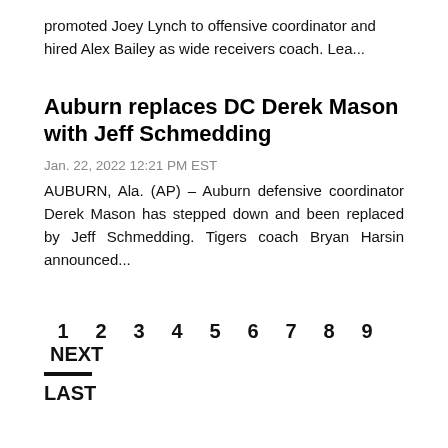promoted Joey Lynch to offensive coordinator and hired Alex Bailey as wide receivers coach. Lea...
Auburn replaces DC Derek Mason with Jeff Schmedding
Jan. 22, 2022 12:21 PM EST
AUBURN, Ala. (AP) – Auburn defensive coordinator Derek Mason has stepped down and been replaced by Jeff Schmedding. Tigers coach Bryan Harsin announced...
1 2 3 4 5 6 7 8 9 NEXT
LAST